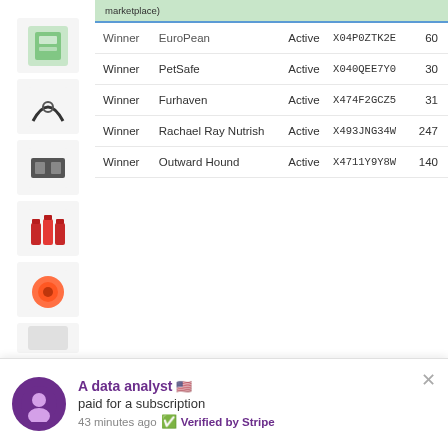[Figure (screenshot): Screenshot of a spreadsheet/app showing product marketplace data with columns for Winner, brand, Active status, FNSKU codes, and numbers. Rows include PetSafe, Furhaven, Rachael Ray Nutrish, Outward Hound. Product images visible on left.]
PRODUCT DETAILS TEMPLATE
Load product details like ASIN, FNSKU, BSR, buy box info, price, category, and
A data analyst 🇺🇸
paid for a subscription
43 minutes ago ✅ Verified by Stripe